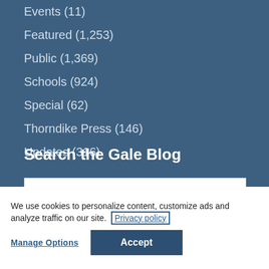Events (11)
Featured (1,253)
Public (1,369)
Schools (924)
Special (62)
Thorndike Press (146)
Updates (316)
Search the Gale Blog
We use cookies to personalize content, customize ads and analyze traffic on our site. Privacy policy
Manage Options  Accept